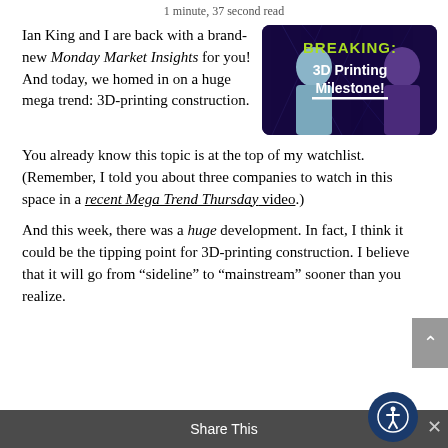1 minute, 37 second read
Ian King and I are back with a brand-new Monday Market Insights for you! And today, we homed in on a huge mega trend: 3D-printing construction.
[Figure (photo): Thumbnail image with dark background showing two people and text 'BREAKING: 3D Printing Milestone!']
You already know this topic is at the top of my watchlist. (Remember, I told you about three companies to watch in this space in a recent Mega Trend Thursday video.)
And this week, there was a huge development. In fact, I think it could be the tipping point for 3D-printing construction. I believe that it will go from “sideline” to “mainstream” sooner than you realize.
Share This